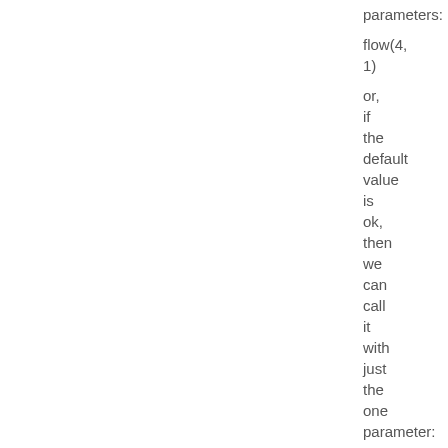parameters:

flow(4,
1)

or, if the default value is ok, then we can call it with just the one parameter:

flow(14)

and it